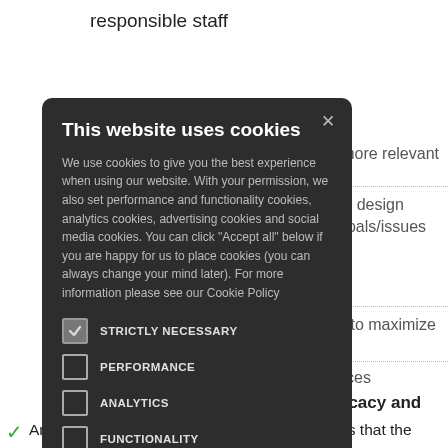responsible staff
more relevant
or design
goals/issues
s to maximize
tices
ocacy and
[Figure (screenshot): Cookie consent modal dialog with dark background. Title: 'This website uses cookies'. Body text explaining cookie usage. Five checkboxes: STRICTLY NECESSARY (checked), PERFORMANCE, ANALYTICS, FUNCTIONALITY, SOCIAL MEDIA. Close X button in top right.]
Any relevant policies, procedures, and activities that the